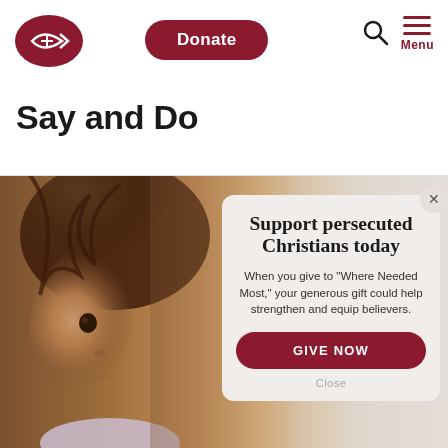[Figure (logo): Open Doors logo — red oval shape with white fish and cross symbol]
Donate
[Figure (other): Search icon (magnifying glass) and Menu icon (three horizontal red lines) with 'Menu' label]
Say and Do
[Figure (photo): Close-up photo of a young girl with brown hair looking at the camera, warm tones]
Support persecuted Christians today
When you give to "Where Needed Most," your generous gift could help strengthen and equip believers.
GIVE NOW
Close